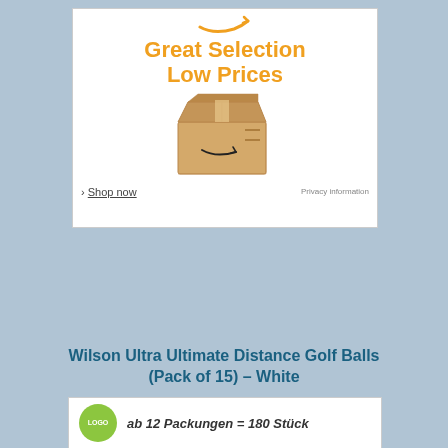[Figure (advertisement): Amazon advertisement banner showing the Amazon arrow/smile logo, text 'Great Selection Low Prices', an Amazon cardboard box, a 'Shop now' link, and 'Privacy information' text.]
Wilson Ultra Ultimate Distance Golf Balls (Pack of 15) – White
[Figure (other): Product card showing a green circular logo and partial text 'ab 12 Packungen = 180 Stück']